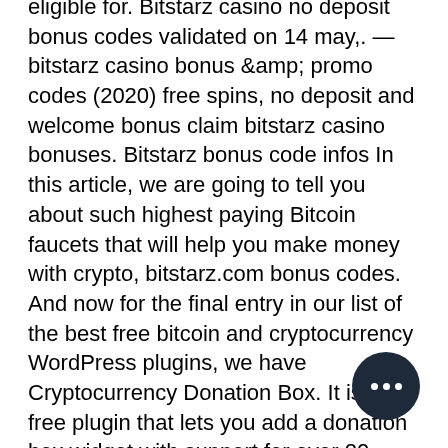eligible for. Bitstarz casino no deposit bonus codes validated on 14 may,. — bitstarz casino bonus &amp; promo codes (2020) free spins, no deposit and welcome bonus claim bitstarz casino bonuses. Bitstarz bonus code infos In this article, we are going to tell you about such highest paying Bitcoin faucets that will help you make money with crypto, bitstarz.com bonus codes. And now for the final entry in our list of the best free bitcoin and cryptocurrency WordPress plugins, we have Cryptocurrency Donation Box. It is a free plugin that lets you add a donation box widget with support for over 20 major cryptocurrencies. All you have to do is simply add your coin wallet address to the widget and place it on your website, bitstarz casino com. Shortcode option is also available if you want to embed it inside your page, post, or sidebar. Features: Helps collect donations in cryptocurrency. Bitstarz casino bonus &amp; promo codes